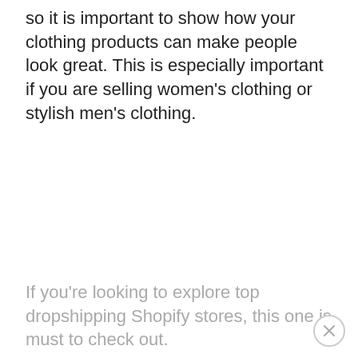so it is important to show how your clothing products can make people look great. This is especially important if you are selling women's clothing or stylish men's clothing.
If you're looking to explore top dropshipping Shopify stores, this one is must to check out.